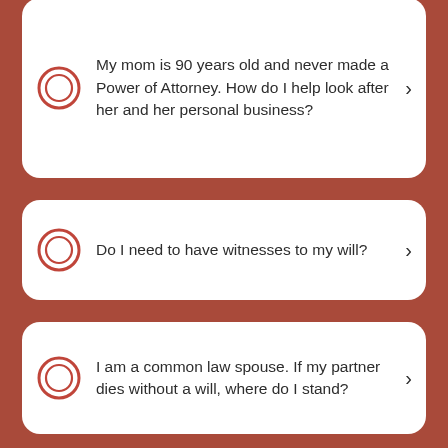My mom is 90 years old and never made a Power of Attorney. How do I help look after her and her personal business?
Do I need to have witnesses to my will?
I am a common law spouse. If my partner dies without a will, where do I stand?